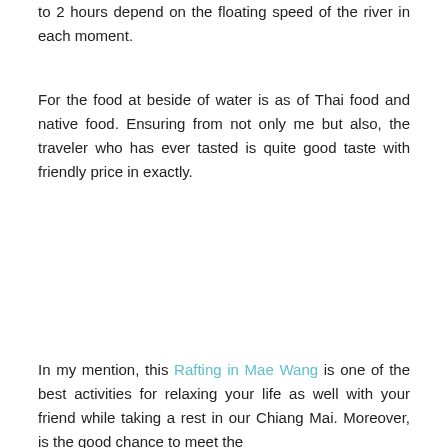to 2 hours depend on the floating speed of the river in each moment.
For the food at beside of water is as of Thai food and native food. Ensuring from not only me but also, the traveler who has ever tasted is quite good taste with friendly price in exactly.
In my mention, this Rafting in Mae Wang is one of the best activities for relaxing your life as well with your friend while taking a rest in our Chiang Mai. Moreover, is the good chance to meet the